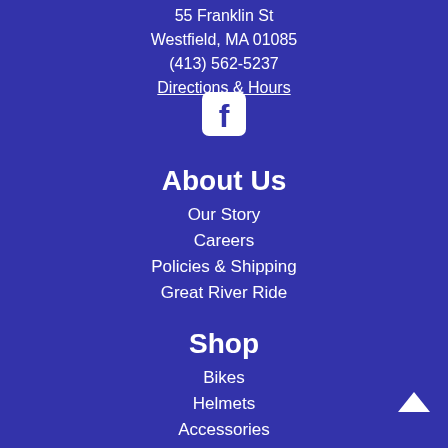55 Franklin St
Westfield, MA 01085
(413) 562-5237
Directions & Hours
[Figure (logo): Facebook icon — white rounded square with Facebook 'f' logo]
About Us
Our Story
Careers
Policies & Shipping
Great River Ride
Shop
Bikes
Helmets
Accessories